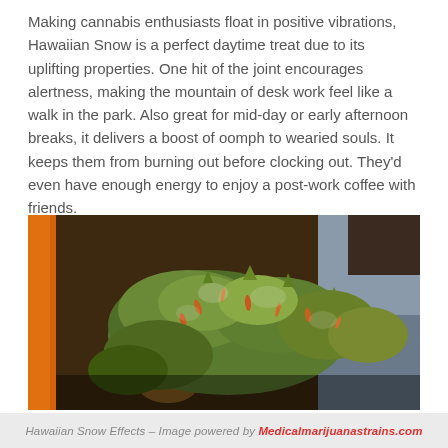Making cannabis enthusiasts float in positive vibrations, Hawaiian Snow is a perfect daytime treat due to its uplifting properties. One hit of the joint encourages alertness, making the mountain of desk work feel like a walk in the park. Also great for mid-day or early afternoon breaks, it delivers a boost of oomph to wearied souls. It keeps them from burning out before clocking out. They'd even have enough energy to enjoy a post-work coffee with friends.
[Figure (photo): Close-up photograph of a Hawaiian Snow cannabis bud (green and orange-tipped flower) placed on a dark brown surface with an orange object visible on the left side.]
Hawaiian Snow Effects – Image powered by Medicalmarijuanastrains.com